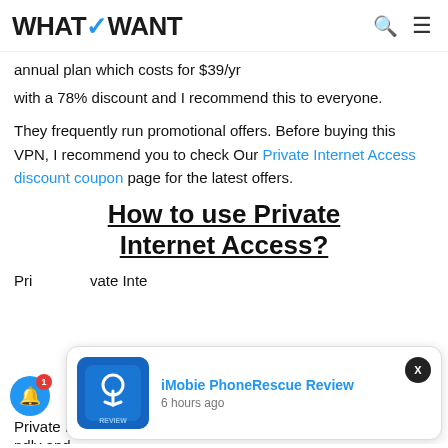WHATVWANT
annual plan which costs for $39/yr with a 78% discount and I recommend this to everyone.
They frequently run promotional offers. Before buying this VPN, I recommend you to check Our Private Internet Access discount coupon page for the latest offers.
How to use Private Internet Access?
Private Internet Access is user-friendly and easy to use.
[Figure (screenshot): Notification popup for iMobie PhoneRescue Review article, posted 6 hours ago, with app icon showing blue background with phone rescue imagery. A close button marked X appears top right. A blue bell notification button with red badge showing '1' appears bottom left.]